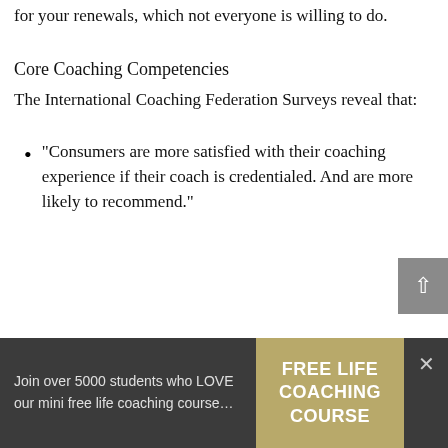for your renewals, which not everyone is willing to do.
Core Coaching Competencies
The International Coaching Federation Surveys reveal that:
"Consumers are more satisfied with their coaching experience if their coach is credentialed. And are more likely to recommend."
Join over 5000 students who LOVE our mini free life coaching course…
FREE LIFE COACHING COURSE